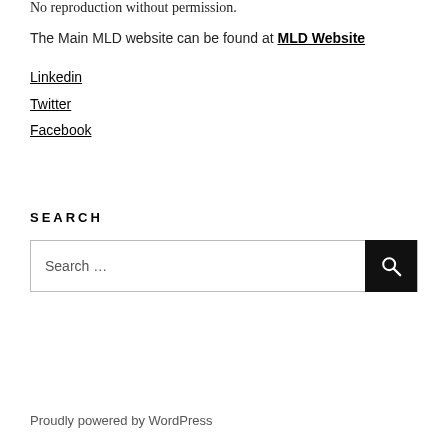No reproduction without permission.
The Main MLD website can be found at MLD Website
Linkedin
Twitter
Facebook
SEARCH
Search …
Proudly powered by WordPress